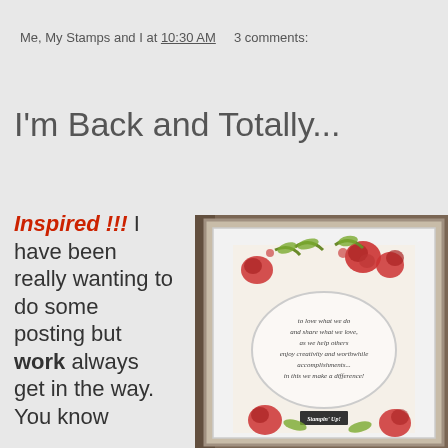Me, My Stamps and I at 10:30 AM    3 comments:
I'm Back and Totally...
Inspired !!! I have been really wanting to do some posting but work always get in the way. You know
[Figure (photo): A framed stamped artwork with floral rose design and an oval with inspirational text about loving what we do, sharing what we love, helping others enjoy creativity and worthwhile accomplishments, making a difference. Stampin' Up! logo at bottom.]